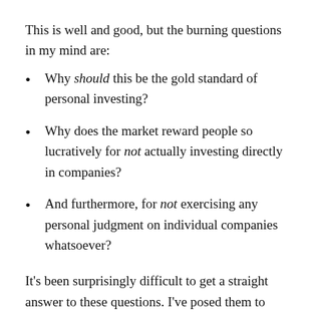This is well and good, but the burning questions in my mind are:
Why should this be the gold standard of personal investing?
Why does the market reward people so lucratively for not actually investing directly in companies?
And furthermore, for not exercising any personal judgment on individual companies whatsoever?
It’s been surprisingly difficult to get a straight answer to these questions. I’ve posed them to people I know who are very sophisticated. I often get answers that are vague or too loaded down with jargon for me to understand. But it’s more than an academic question,